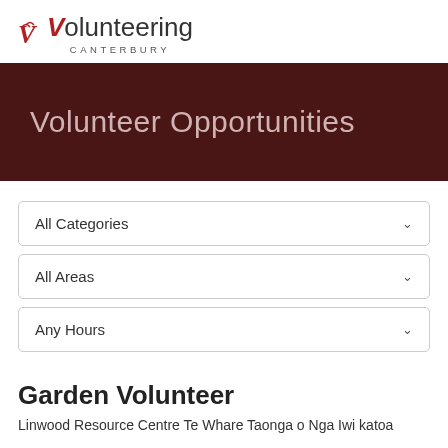Volunteering Canterbury
Volunteer Opportunities
All Categories
All Areas
Any Hours
Garden Volunteer
Linwood Resource Centre Te Whare Taonga o Nga Iwi katoa